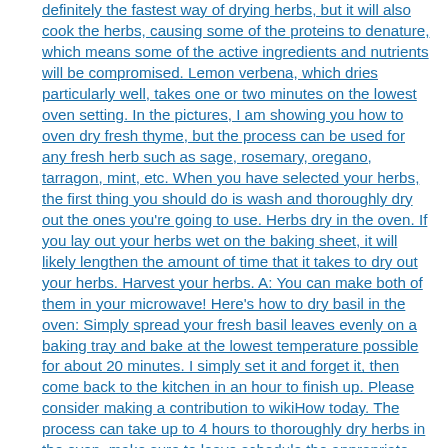definitely the fastest way of drying herbs, but it will also cook the herbs, causing some of the proteins to denature, which means some of the active ingredients and nutrients will be compromised. Lemon verbena, which dries particularly well, takes one or two minutes on the lowest oven setting. In the pictures, I am showing you how to oven dry fresh thyme, but the process can be used for any fresh herb such as sage, rosemary, oregano, tarragon, mint, etc. When you have selected your herbs, the first thing you should do is wash and thoroughly dry out the ones you're going to use. Herbs dry in the oven. If you lay out your herbs wet on the baking sheet, it will likely lengthen the amount of time that it takes to dry out your herbs. Harvest your herbs. A: You can make both of them in your microwave! Here's how to dry basil in the oven: Simply spread your fresh basil leaves evenly on a baking tray and bake at the lowest temperature possible for about 20 minutes. I simply set it and forget it, then come back to the kitchen in an hour to finish up. Please consider making a contribution to wikiHow today. The process can take up to 4 hours to thoroughly dry herbs in the oven, make sure to leave schedule the appropriate time to complete the drying job. When done just turn the oven off and leave till cool. Keep empty herb containers and reuse them for use with your own dried herbs. This is important because you want air circulation to help dry the herbs; you don't not bake them. Here is my guide to help you quickly preserve your herb harvest. LEAVE THE OVEN DOOR CRACKED OPEN! Step 3. Mine will only go down to 170F. Use a wooden spoon to prop the oven door open. Step 2 – Wash and Dry. https://www.tasteofhome.com/article/how-to-dry-herbs/, http://extension.illinois.edu/herbs/tips.cfm, consider supporting our work with a contribution to wikiHow. Drying...